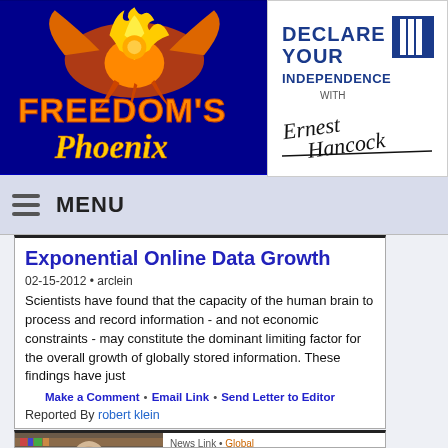[Figure (logo): Freedom's Phoenix logo with golden phoenix bird on dark blue background with orange/gold text]
[Figure (logo): Declare Your Independence with Ernest Hancock logo, black text on white background with signature]
MENU
Exponential Online Data Growth
02-15-2012 • arclein
Scientists have found that the capacity of the human brain to process and record information - and not economic constraints - may constitute the dominant limiting factor for the overall growth of globally stored information. These findings have just
Make a Comment • Email Link • Send Letter to Editor
Reported By robert klein
News Link • Global
Science, Medicine and Technology